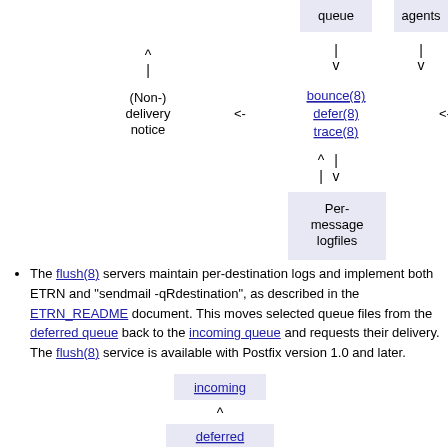[Figure (flowchart): Flowchart showing queue, agents, bounce(8), defer(8), trace(8), non-delivery notice, per-message logfiles with arrows indicating data flow]
The flush(8) servers maintain per-destination logs and implement both ETRN and "sendmail -qRdestination", as described in the ETRN_README document. This moves selected queue files from the deferred queue back to the incoming queue and requests their delivery. The flush(8) service is available with Postfix version 1.0 and later.
[Figure (flowchart): Small flowchart showing incoming queue above deferred queue with upward arrows]